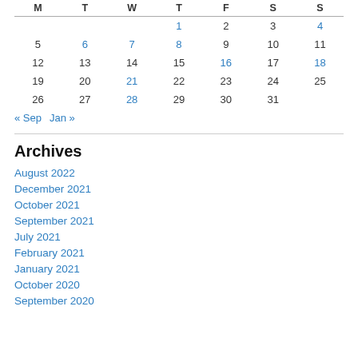| M | T | W | T | F | S | S |
| --- | --- | --- | --- | --- | --- | --- |
|  |  |  | 1 | 2 | 3 | 4 |
| 5 | 6 | 7 | 8 | 9 | 10 | 11 |
| 12 | 13 | 14 | 15 | 16 | 17 | 18 |
| 19 | 20 | 21 | 22 | 23 | 24 | 25 |
| 26 | 27 | 28 | 29 | 30 | 31 |  |
« Sep   Jan »
Archives
August 2022
December 2021
October 2021
September 2021
July 2021
February 2021
January 2021
October 2020
September 2020